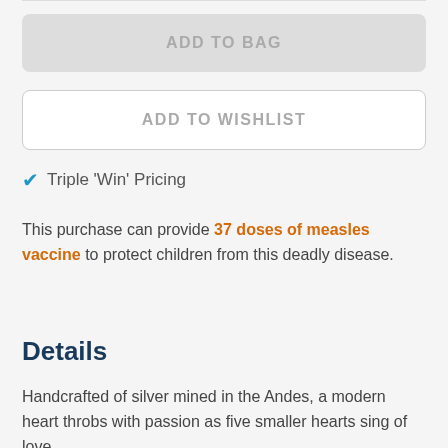ADD TO BAG
ADD TO WISHLIST
✓ Triple 'Win' Pricing
This purchase can provide 37 doses of measles vaccine to protect children from this deadly disease.
Details
Handcrafted of silver mined in the Andes, a modern heart throbs with passion as five smaller hearts sing of love.